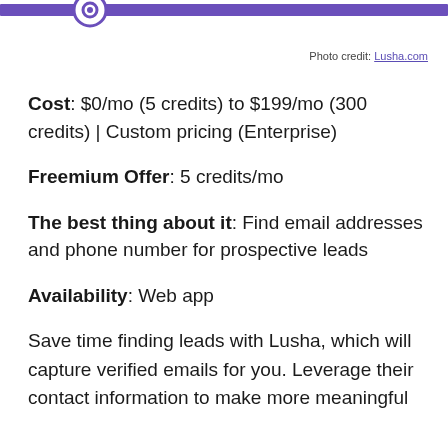[Figure (other): Top portion of Lusha logo/banner with purple bar and circular icon]
Photo credit: Lusha.com
Cost: $0/mo (5 credits) to $199/mo (300 credits) | Custom pricing (Enterprise)
Freemium Offer: 5 credits/mo
The best thing about it: Find email addresses and phone number for prospective leads
Availability: Web app
Save time finding leads with Lusha, which will capture verified emails for you. Leverage their contact information to make more meaningful connections through more personal and